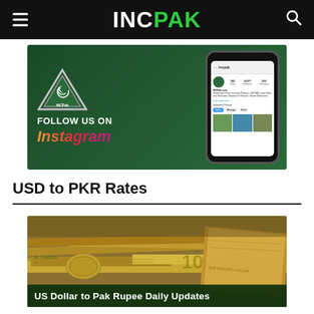INCPAK
[Figure (photo): INCPak Follow Us on Instagram promotional banner with phone mockup showing Instagram profile]
USD to PKR Rates
[Figure (photo): Stack of US dollar bills with caption 'US Dollar to Pak Rupee Daily Updates']